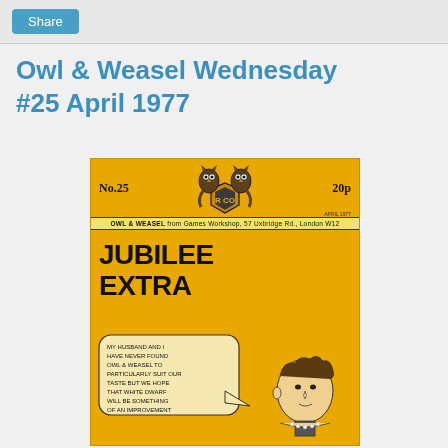Share
Owl & Weasel Wednesday #25 April 1977
[Figure (photo): Cover image of Owl & Weasel newsletter No.25, April 1977, priced 20p, with 'JUBILEE EXTRA' headline and a cartoon speech bubble with text about the Jubilee, and a portrait illustration of a woman, on a yellow/orange background.]